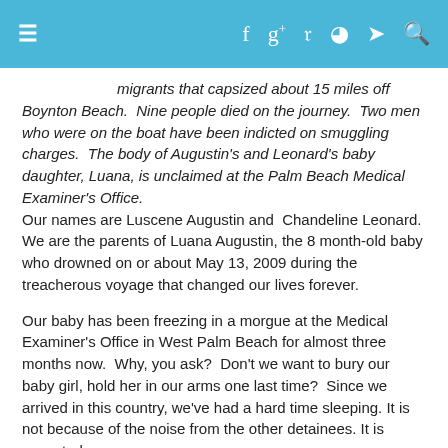≡  f  g+  p  ⊃  ꟈ  🔍
migrants that capsized about 15 miles off Boynton Beach.  Nine people died on the journey.  Two men who were on the boat have been indicted on smuggling charges.  The body of Augustin's and Leonard's baby daughter, Luana, is unclaimed at the Palm Beach Medical Examiner's Office. Our names are Luscene Augustin and  Chandeline Leonard.  We are the parents of Luana Augustin, the 8 month-old baby who drowned on or about May 13, 2009 during the treacherous voyage that changed our lives forever.
Our baby has been freezing in a morgue at the Medical Examiner's Office in West Palm Beach for almost three months now.  Why, you ask?  Don't we want to bury our baby girl, hold her in our arms one last time?  Since we arrived in this country, we've had a hard time sleeping. It is not because of the noise from the other detainees. It is expected.
We are living with hundreds of other honest, hard-working men and women who left our country!  Many died.  Nine bodies were found, including our baby girl,  Luana.